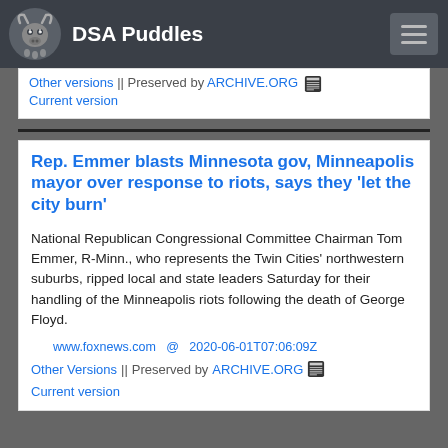DSA Puddles
Other versions || Preserved by ARCHIVE.ORG
Current version
Rep. Emmer blasts Minnesota gov, Minneapolis mayor over response to riots, says they 'let the city burn'
National Republican Congressional Committee Chairman Tom Emmer, R-Minn., who represents the Twin Cities' northwestern suburbs, ripped local and state leaders Saturday for their handling of the Minneapolis riots following the death of George Floyd.
www.foxnews.com  @  2020-06-01T07:06:09Z
Other Versions  ||  Preserved by ARCHIVE.ORG
Current version